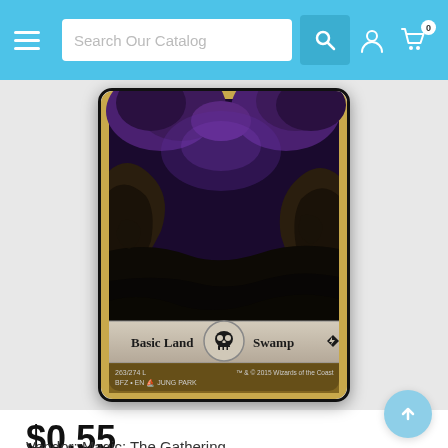Search Our Catalog
[Figure (photo): Magic: The Gathering card — Basic Land Swamp, full-art illustration by Jung Park showing dark swamp landscape with rocky formations, card number 263/274, set BFZ, English edition, 2015 Wizards of the Coast]
$0.55
Vendor:  Magic: The Gathering